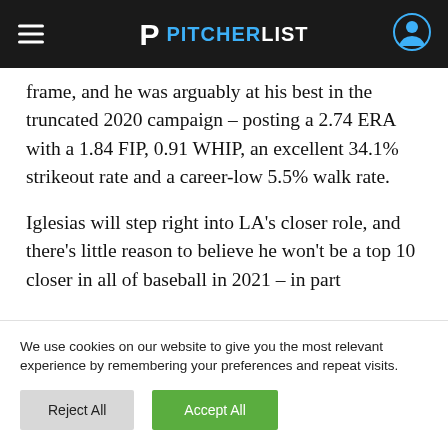PITCHERLIST
frame, and he was arguably at his best in the truncated 2020 campaign – posting a 2.74 ERA with a 1.84 FIP, 0.91 WHIP, an excellent 34.1% strikeout rate and a career-low 5.5% walk rate.
Iglesias will step right into LA's closer role, and there's little reason to believe he won't be a top 10 closer in all of baseball in 2021 – in part
We use cookies on our website to give you the most relevant experience by remembering your preferences and repeat visits.